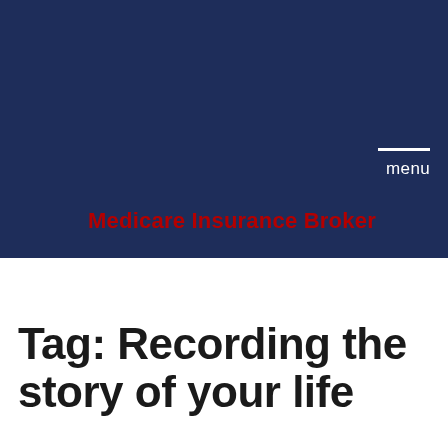menu
Medicare Insurance Broker
Tag: Recording the story of your life